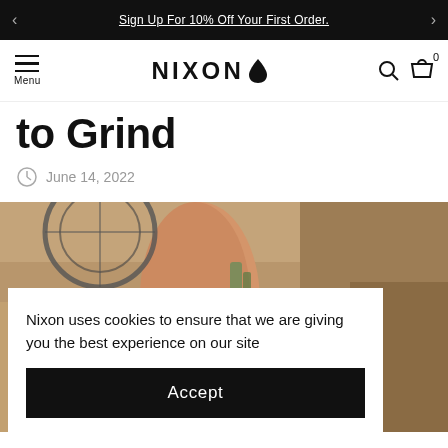Sign Up For 10% Off Your First Order.
NIXON — Menu, Search, Cart (0)
to Grind
June 14, 2022
[Figure (photo): Close-up of a person's wrist wearing a teal/turquoise digital watch, hand on sandy/rocky ground with a bike wheel visible in background.]
Nixon uses cookies to ensure that we are giving you the best experience on our site
Accept